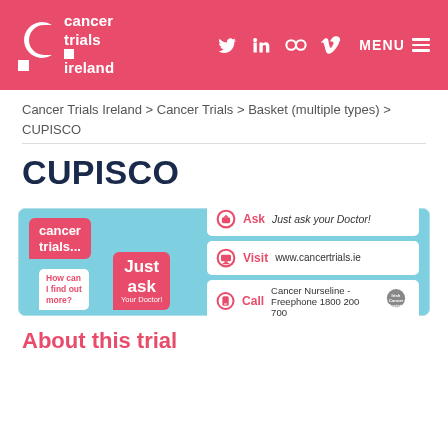[Figure (logo): Cancer Trials Ireland logo and navigation header with pink/red background, social media icons (Twitter, LinkedIn, Flickr, Vimeo), and MENU button]
Cancer Trials Ireland > Cancer Trials > Basket (multiple types) > CUPISCO
CUPISCO
[Figure (infographic): Cancer Trials Ireland 'Just Ask Your Doctor' promotional banner on light blue background. Left side has speech bubbles: 'cancer trials...' in pink, 'How can I find out more?' in white, and 'Just ask Your Doctor!' in pink. Right side has three white rows: Ask - Just ask your Doctor!, Visit - www.cancertrials.ie, Call - Cancer Nurseline - Freephone 1800 200 700 with Irish Cancer Society logo.]
About this trial